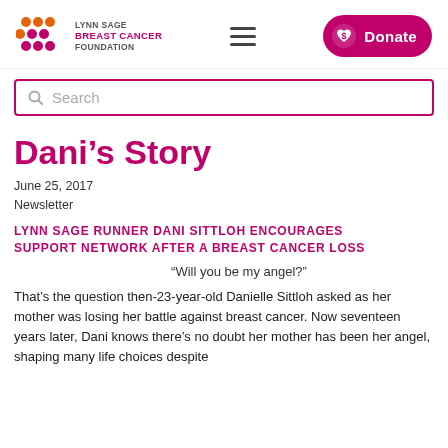[Figure (logo): Lynn Sage Breast Cancer Foundation logo with colored dots and text]
[Figure (illustration): Donate button with heart/dollar icon, pink rounded rectangle]
Search
Dani's Story
June 25, 2017
Newsletter
LYNN SAGE RUNNER DANI SITTLOH ENCOURAGES SUPPORT NETWORK AFTER A BREAST CANCER LOSS
“Will you be my angel?”
That's the question then-23-year-old Danielle Sittloh asked as her mother was losing her battle against breast cancer. Now seventeen years later, Dani knows there's no doubt her mother has been her angel, shaping many life choices despite